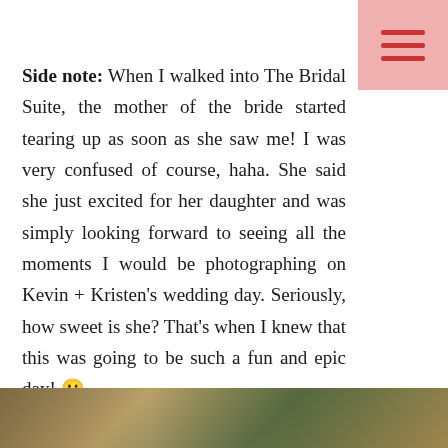Side note: When I walked into The Bridal Suite, the mother of the bride started tearing up as soon as she saw me! I was very confused of course, haha. She said she just excited for her daughter and was simply looking forward to seeing all the moments I would be photographing on Kevin + Kristen's wedding day. Seriously, how sweet is she? That's when I knew that this was going to be such a fun and epic day! 🙂
So here are some of our favorites from this Peach Creek Ranch wedding:
[Figure (photo): Bottom strip showing outdoor wedding photos at Peach Creek Ranch]